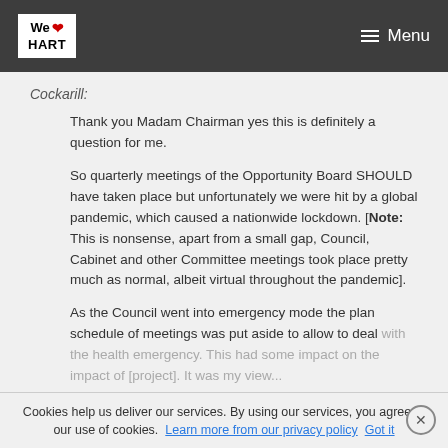We ❤ HART | Menu
Cockarill:
Thank you Madam Chairman yes this is definitely a question for me.

So quarterly meetings of the Opportunity Board SHOULD have taken place but unfortunately we were hit by a global pandemic, which caused a nationwide lockdown. [Note: This is nonsense, apart from a small gap, Council, Cabinet and other Committee meetings took place pretty much as normal, albeit virtual throughout the pandemic].

As the Council went into emergency mode the plan schedule of meetings was put aside to allow to deal with the health emergency. This had some impact on the impact of [project]. It was my view...
Cookies help us deliver our services. By using our services, you agree to our use of cookies. Learn more from our privacy policy  Got it